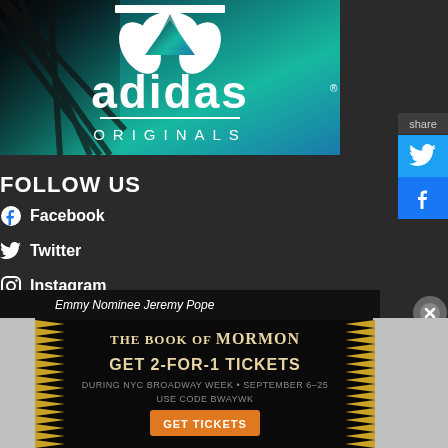[Figure (logo): Adidas Originals logo banner with teal/turquoise background, trefoil logo, adidas text, and ORIGINALS text below a horizontal line, with palm leaf overlay on left side]
share
[Figure (logo): Twitter bird icon in blue background]
[Figure (logo): Facebook 'f' icon in blue circle on blue background]
FOLLOW US
Facebook
Twitter
Instagram
Emmy Nominee Jeremy Pope
[Figure (illustration): The Book of Mormon musical advertisement: gold spiky border on left and right, black background, gold text 'THE BOOK OF MORMON', 'GET 2-FOR-1 TICKETS', 'DURING NYC BROADWAY WEEK • SEPTEMBER 6-25', 'USE CODE BWAYWK', orange button 'GET TICKETS']
[Figure (other): Close/X button circle on right side]